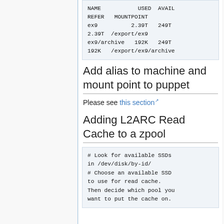[Figure (other): Code block showing ZFS filesystem listing with NAME, USED, AVAIL, REFER, MOUNTPOINT columns for ex9 and ex9/archive]
Add alias to machine and mount point to puppet
Please see this section
Adding L2ARC Read Cache to a zpool
[Figure (other): Code block: # Look for available SSDs in /dev/disk/by-id/ # Choose an available SSD to use for read cache. Then decide which pool you want to put the cache on.]